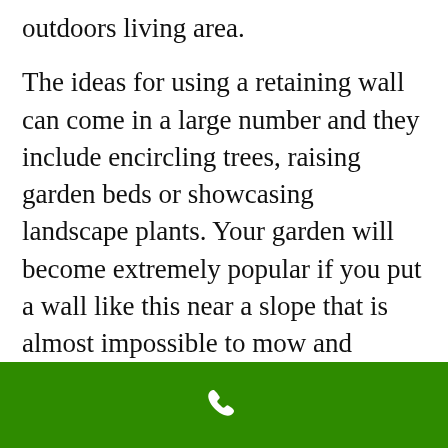outdoors living area.
The ideas for using a retaining wall can come in a large number and they include encircling trees, raising garden beds or showcasing landscape plants. Your garden will become extremely popular if you put a wall like this near a slope that is almost impossible to mow and incorporate some plants or even river rock.
Hilton Head Island
for suing a retaining (cinch it...
[Figure (other): Green navigation bar at bottom with white phone icon]